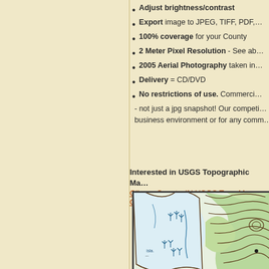Adjust brightness/contrast
Export image to JPEG, TIFF, PDF,…
100% coverage for your County
2 Meter Pixel Resolution - See ab…
2005 Aerial Photography taken in…
Delivery = CD/DVD
No restrictions of use. Commerci… - not just a jpg snapshot! Our competi… business environment or for any comm…
Interested in USGS Topographic Ma… Gibson County, IN USGS Topo Map C…
[Figure (map): USGS topographic map showing contour lines, green terrain, water bodies/wetlands with blue vegetation markers, and land features of Gibson County, IN area.]